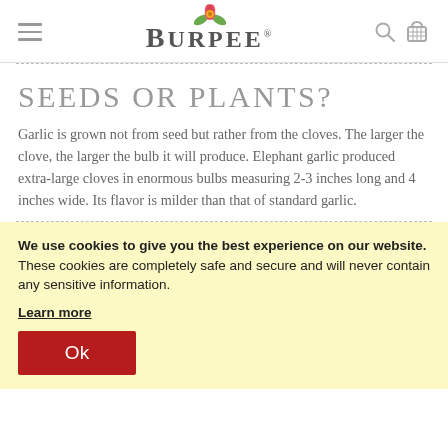Burpee (logo with flower icon, hamburger menu, search and cart icons)
SEEDS OR PLANTS?
Garlic is grown not from seed but rather from the cloves. The larger the clove, the larger the bulb it will produce. Elephant garlic produced extra-large cloves in enormous bulbs measuring 2-3 inches long and 4 inches wide. Its flavor is milder than that of standard garlic.
We use cookies to give you the best experience on our website. These cookies are completely safe and secure and will never contain any sensitive information.
Learn more
Ok